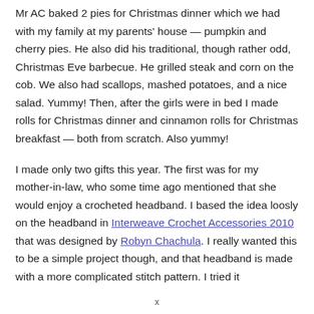Mr AC baked 2 pies for Christmas dinner which we had with my family at my parents' house — pumpkin and cherry pies.  He also did his traditional, though rather odd, Christmas Eve barbecue.  He grilled steak and corn on the cob.  We also had scallops, mashed potatoes, and a nice salad.  Yummy!  Then, after the girls were in bed I made rolls for Christmas dinner and cinnamon rolls for Christmas breakfast — both from scratch.  Also yummy!
I made only two gifts this year.  The first was for my mother-in-law, who some time ago mentioned that she would enjoy a crocheted headband.  I based the idea loosly on the headband in Interweave Crochet Accessories 2010 that was designed by Robyn Chachula.  I really wanted this to be a simple project though, and that headband is made with a more complicated stitch pattern.  I tried it
x